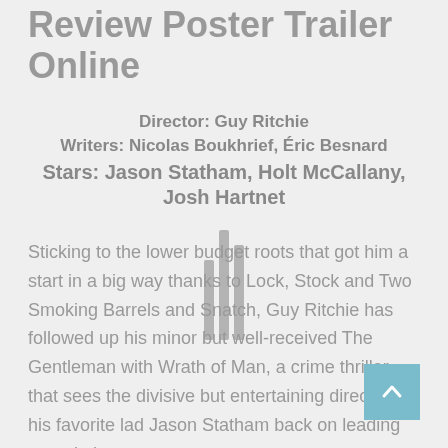Review Poster Trailer Online
Director: Guy Ritchie
Writers: Nicolas Boukhrief, Éric Besnard
Stars: Jason Statham, Holt McCallany, Josh Hartnet
Sticking to the lower budget roots that got him a start in a big way thanks to Lock, Stock and Two Smoking Barrels and Snatch, Guy Ritchie has followed up his minor but well-received The Gentleman with Wrath of Man, a crime thriller that sees the divisive but entertaining director get his favorite lad Jason Statham back on leading man duties.